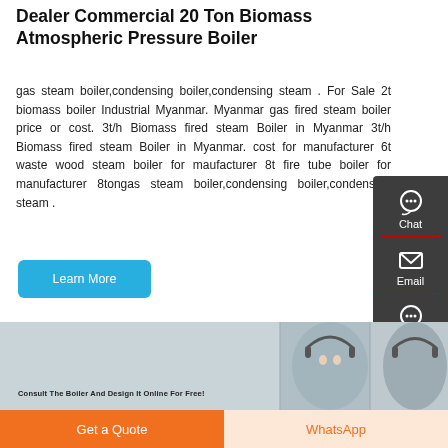Dealer Commercial 20 Ton Biomass Atmospheric Pressure Boiler
gas steam boiler,condensing boiler,condensing steam . For Sale 2t biomass boiler Industrial Myanmar. Myanmar gas fired steam boiler price or cost. 3t/h Biomass fired steam Boiler in Myanmar 3t/h Biomass fired steam Boiler in Myanmar. cost for manufacturer 6t waste wood steam boiler for maufacturer 8t fire tube boiler for manufacturer 8tongas steam boiler,condensing boiler,condensing steam .
[Figure (screenshot): Blue 'Learn More' button]
[Figure (infographic): Dark sidebar with chat, email, and contact icons]
[Figure (photo): Customer service representatives with headsets, with text 'Consult The Boiler And Design It Online For Free!']
[Figure (screenshot): Bottom buttons: 'Get a Quote' (orange) and 'WhatsApp' (light orange)]